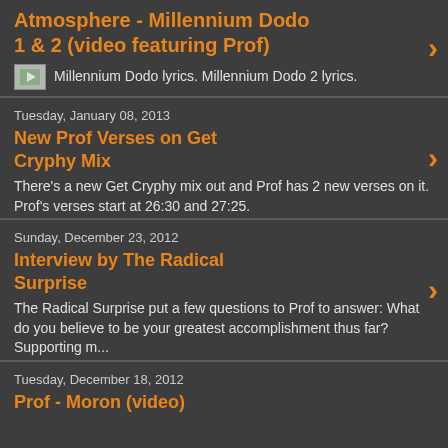Atmosphere - Millennium Dodo 1 & 2 (video featuring Prof)
Millennium Dodo lyrics. Millennium Dodo 2 lyrics.
Tuesday, January 08, 2013
New Prof Verses on Get Cryphy Mix
There's a new Get Cryphy mix out and Prof has 2 new verses on it.  Prof's verses start at 26:30 and 27:25.
Sunday, December 23, 2012
Interview by The Radical Surprise
The Radical Surprise put a few questions to Prof to answer: What do you believe to be your greatest accomplishment thus far? Supporting m...
Tuesday, December 18, 2012
Prof - Moron (video)